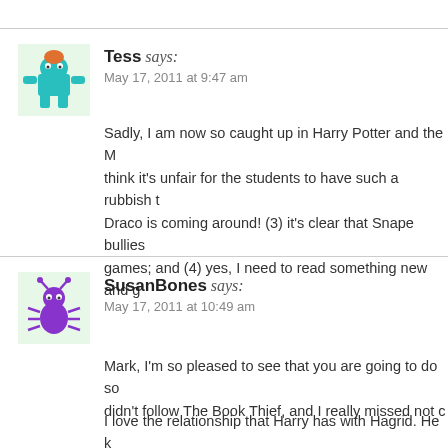Tess says: May 17, 2011 at 9:47 am
Sadly, I am now so caught up in Harry Potter and the M... think it's unfair for the students to have such a rubbish t... Draco is coming around! (3) it's clear that Snape bullies... games; and (4) yes, I need to read something new and g...
SusanBones says: May 17, 2011 at 10:49 am
Mark, I'm so pleased to see that you are going to do so... didn't follow The Book Thief, and I really missed not c...
I love the relationship that Harry has with Hagrid. He k... child Harry grew up to be than anyone else in the Wiza...